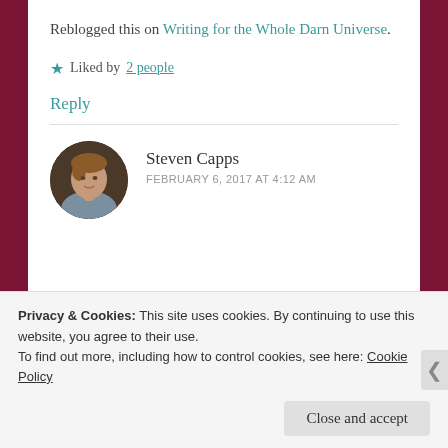Reblogged this on Writing for the Whole Darn Universe.
★ Liked by 2 people
Reply
Steven Capps
FEBRUARY 6, 2017 AT 4:12 AM
[Figure (photo): Circular avatar photo of Steven Capps, a man in a grey shirt]
Privacy & Cookies: This site uses cookies. By continuing to use this website, you agree to their use.
To find out more, including how to control cookies, see here: Cookie Policy
Close and accept